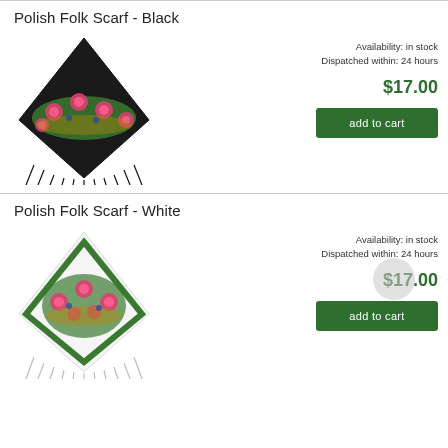Polish Folk Scarf - Black
Availability: in stock
Dispatched within: 24 hours
$17.00
add to cart
[Figure (photo): Black Polish folk scarf with floral embroidery pattern and fringe]
Polish Folk Scarf - White
Availability: in stock
Dispatched within: 24 hours
$17.00
add to cart
[Figure (photo): White Polish folk scarf with floral embroidery pattern and fringe]